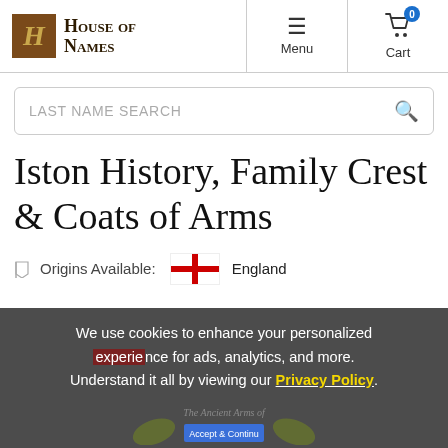[Figure (logo): House of Names logo with gothic H lettermark in brown/gold and stylized gothic text]
Menu  Cart 0
LAST NAME SEARCH
Iston History, Family Crest & Coats of Arms
Origins Available:  England
We use cookies to enhance your personalized experience for ads, analytics, and more. Understand it all by viewing our Privacy Policy.
[Figure (illustration): Partial view of a coat of arms illustration with The Ancient Arms of text and decorative shields]
Accept & Continue